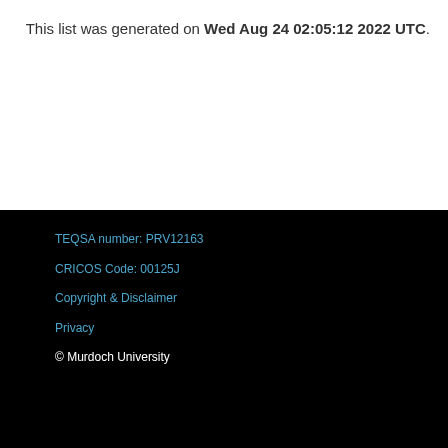This list was generated on Wed Aug 24 02:05:12 2022 UTC.
TEQSA number: PRV12163
CRICOS Code: 00125J
Copyright & Disclaimer
Privacy
© Murdoch University